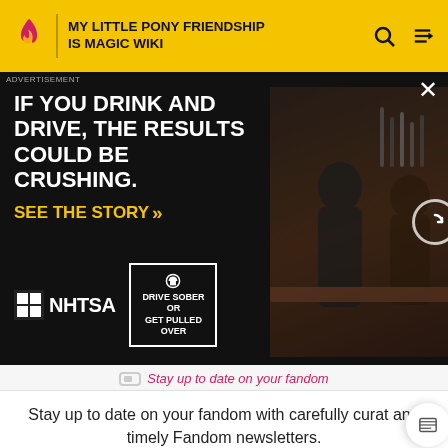MY LITTLE PONY FRIENDSHIP IS MAGIC WIKI
[Figure (screenshot): NHTSA advertisement with text: IF YOU DRINK AND DRIVE, THE RESULTS COULD BE CRUSHING. SEE THE STORY. DRIVE SOBER OR GET PULLED OVER. Shows two people at a bar in the background.]
Stay up to date on your fandom with carefully curated and timely Fandom newsletters.
Email Address
SIGN UP
We want your honest take on online discussions
SURVEY: ONLINE FORUMS